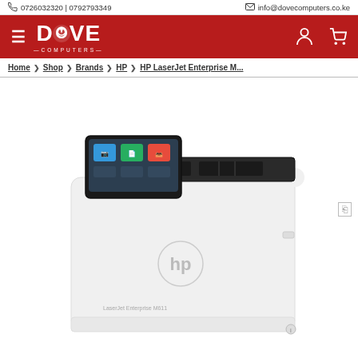0726032320 | 0792793349   info@dovecomputers.co.ke
[Figure (logo): Dove Computers logo with hamburger menu icon on dark red background header bar]
Home > Shop > Brands > HP > HP LaserJet Enterprise M...
[Figure (photo): HP LaserJet Enterprise M611 printer, white body with touchscreen control panel and HP logo on front, output tray open at top]